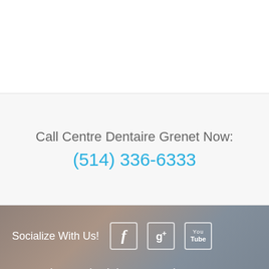Call Centre Dentaire Grenet Now:
(514) 336-6333
Socialize With Us!
Ready to Schedule an Appointment?
Appointments
Centre Dentaire Grenet